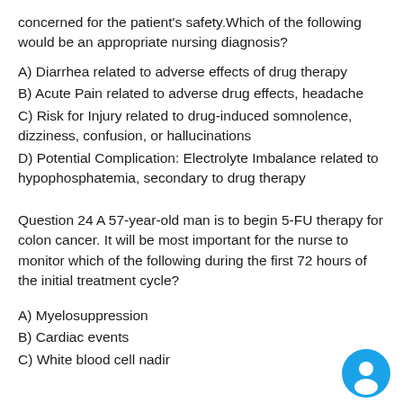concerned for the patient's safety. Which of the following would be an appropriate nursing diagnosis?
A) Diarrhea related to adverse effects of drug therapy
B) Acute Pain related to adverse drug effects, headache
C) Risk for Injury related to drug-induced somnolence, dizziness, confusion, or hallucinations
D) Potential Complication: Electrolyte Imbalance related to hypophosphatemia, secondary to drug therapy
Question 24 A 57-year-old man is to begin 5-FU therapy for colon cancer. It will be most important for the nurse to monitor which of the following during the first 72 hours of the initial treatment cycle?
A) Myelosuppression
B) Cardiac events
C) White blood cell nadir